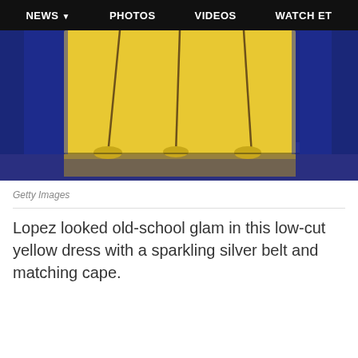NEWS  PHOTOS  VIDEOS  WATCH ET
[Figure (photo): A yellow flowing dress or gown with dark trim lines, hanging against a dark blue wall background, with reflection on the floor below.]
Getty Images
Lopez looked old-school glam in this low-cut yellow dress with a sparkling silver belt and matching cape.